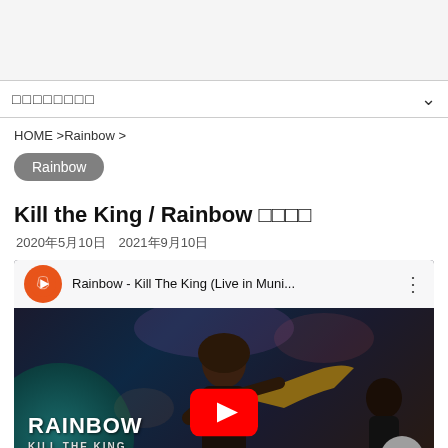□□□□□□□□
HOME >Rainbow >
Rainbow
Kill the King / Rainbow □□□□
2020年5月10日　2021年9月10日
[Figure (screenshot): YouTube video embed showing Rainbow - Kill The King (Live in Muni...) with a guitarist performing on stage, teal/dark background, RAINBOW KILL THE KING text overlay, red YouTube play button in center]